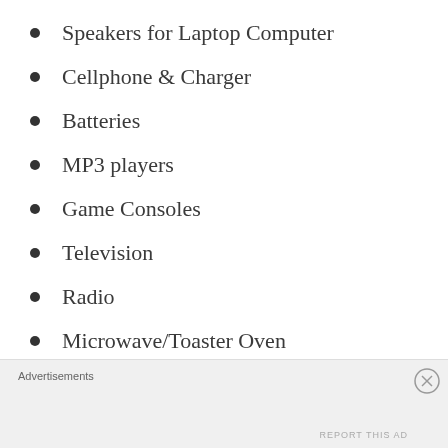Speakers for Laptop Computer
Cellphone & Charger
Batteries
MP3 players
Game Consoles
Television
Radio
Microwave/Toaster Oven
Coffee Maker (You can install the...
Advertisements